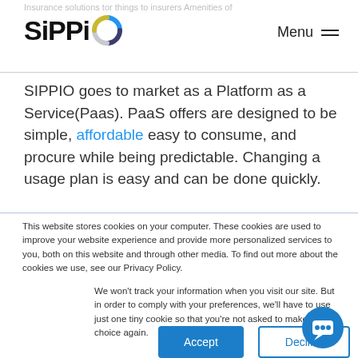SIPPIO
SIPPIO goes to market as a Platform as a Service(Paas). PaaS offers are designed to be simple, affordable easy to consume, and procure while being predictable. Changing a usage plan is easy and can be done quickly.
This website stores cookies on your computer. These cookies are used to improve your website experience and provide more personalized services to you, both on this website and through other media. To find out more about the cookies we use, see our Privacy Policy.
We won't track your information when you visit our site. But in order to comply with your preferences, we'll have to use just one tiny cookie so that you're not asked to make this choice again.